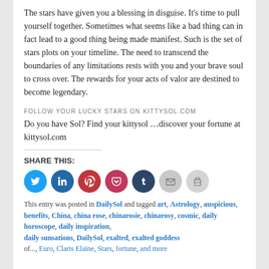The stars have given you a blessing in disguise. It's time to pull yourself together. Sometimes what seems like a bad thing can in fact lead to a good thing being made manifest. Such is the set of stars plots on your timeline. The need to transcend the boundaries of any limitations rests with you and your brave soul to cross over. The rewards for your acts of valor are destined to become legendary.
FOLLOW YOUR LUCKY STARS ON KITTYSOL.COM
Do you have Sol? Find your kittysol …discover your fortune at kittysol.com
[Figure (infographic): Social share icons row: Twitter (blue), LinkedIn (dark blue), Pinterest (red), Pocket (crimson), Tumblr (navy), Email (grey), Print (grey)]
This entry was posted in DailySol and tagged art, Astrology, auspicious, benefits, China, china rose, chinarosie, chinarosy, cosmic, daily horoscope, daily inspiration, daily sunsations, DailySol, exalted, exalted goddess of..., Euro, Claris Elaine, Stars, fortune, and more